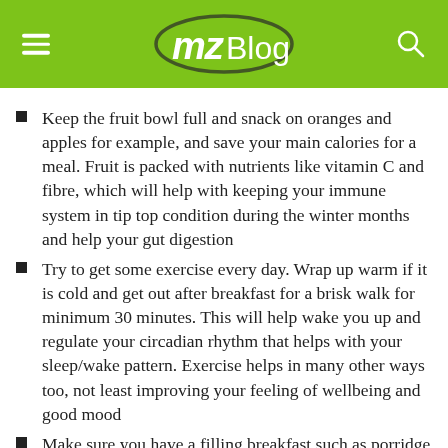MZBlog
Keep the fruit bowl full and snack on oranges and apples for example, and save your main calories for a meal. Fruit is packed with nutrients like vitamin C and fibre, which will help with keeping your immune system in tip top condition during the winter months and help your gut digestion
Try to get some exercise every day. Wrap up warm if it is cold and get out after breakfast for a brisk walk for minimum 30 minutes. This will help wake you up and regulate your circadian rhythm that helps with your sleep/wake pattern. Exercise helps in many other ways too, not least improving your feeling of wellbeing and good mood
Make sure you have a filling breakfast such as porridge with some fruit, or scrambled eggs on wholemeal toast. Having a filling breakfast helps reduce snacking later on